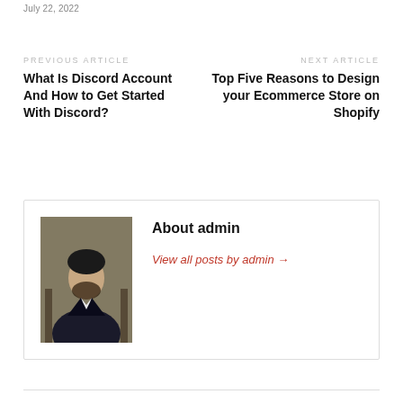July 22, 2022
PREVIOUS ARTICLE
What Is Discord Account And How to Get Started With Discord?
NEXT ARTICLE
Top Five Reasons to Design your Ecommerce Store on Shopify
[Figure (photo): Portrait photo of admin - a man in a dark suit sitting in an office chair]
About admin
View all posts by admin →